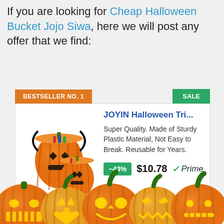If you are looking for Cheap Halloween Bucket Jojo Siwa, here we will post any offer that we find:
[Figure (infographic): Product card for JOYIN Halloween Tri... showing orange pumpkin buckets. Labeled BESTSELLER NO. 1 and SALE. Product description: Super Quality. Made of Sturdy Plastic Material, Not Easy to Break. Reusable for Years. Price: $10.78, -43% discount, Amazon Prime.]
If there are no available offers at this moment, bookmark this page and come back later. Price and availability change quickly.
[Figure (illustration): Row of five carved Halloween jack-o-lantern pumpkins at the bottom of the page, orange with green stems and glowing faces.]